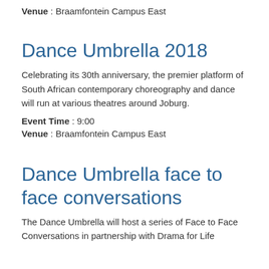Venue : Braamfontein Campus East
Dance Umbrella 2018
Celebrating its 30th anniversary, the premier platform of South African contemporary choreography and dance will run at various theatres around Joburg.
Event Time : 9:00
Venue : Braamfontein Campus East
Dance Umbrella face to face conversations
The Dance Umbrella will host a series of Face to Face Conversations in partnership with Drama for Life